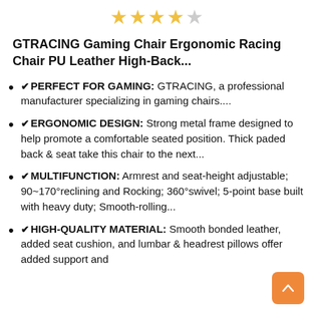[Figure (other): 4 filled gold stars and 1 empty star rating]
GTRACING Gaming Chair Ergonomic Racing Chair PU Leather High-Back...
✔PERFECT FOR GAMING: GTRACING, a professional manufacturer specializing in gaming chairs....
✔ERGONOMIC DESIGN: Strong metal frame designed to help promote a comfortable seated position. Thick paded back & seat take this chair to the next...
✔MULTIFUNCTION: Armrest and seat-height adjustable; 90~170°reclining and Rocking; 360°swivel; 5-point base built with heavy duty; Smooth-rolling...
✔HIGH-QUALITY MATERIAL: Smooth bonded leather, added seat cushion, and lumbar & headrest pillows offer added support and